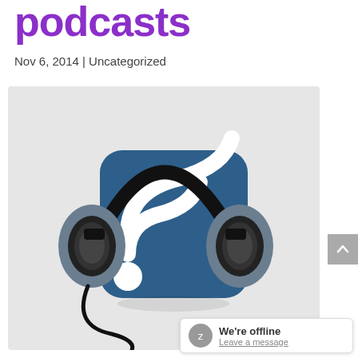podcasts
Nov 6, 2014 | Uncategorized
[Figure (illustration): Illustration of a pair of black headphones overlaid on a dark blue rounded-square RSS feed icon (wifi-like signal arcs with a dot), set against a light gray background. A cable hangs below.]
We're offline
Leave a message